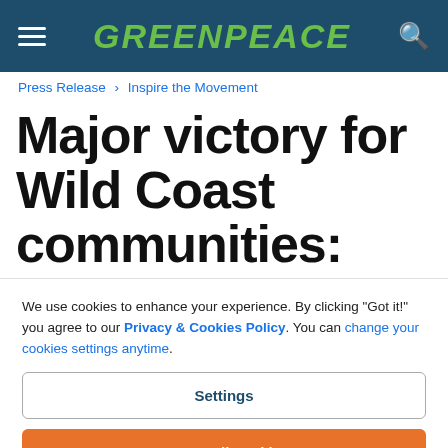GREENPEACE (navigation header with hamburger menu and search icon)
Press Release > Inspire the Movement
Major victory for Wild Coast communities: Shell interdicted from
We use cookies to enhance your experience. By clicking "Got it!" you agree to our Privacy & Cookies Policy. You can change your cookies settings anytime.
Settings
Accept all cookies